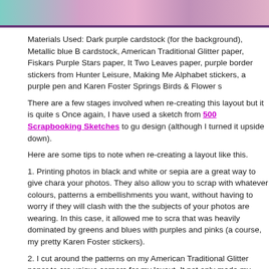[Figure (photo): Top strip of a scrapbook layout photo showing colorful floral/decorative elements in teal, pink, and purple tones]
Materials Used: Dark purple cardstock (for the background), Metallic blue cardstock, American Traditional Glitter paper, Fiskars Purple Stars paper, It Two Leaves paper, purple border stickers from Hunter Leisure, Making Me Alphabet stickers, a purple pen and Karen Foster Springs Birds & Flower s
There are a few stages involved when re-creating this layout but it is quite s Once again, I have used a sketch from 500 Scrapbooking Sketches to gu design (although I turned it upside down).
Here are some tips to note when re-creating a layout like this.
1. Printing photos in black and white or sepia are a great way to give chara your photos. They also allow you to scrap with whatever colours, patterns a embellishments you want, without having to worry if they will clash with the the subjects of your photos are wearing. In this case, it allowed me to scra that was heavily dominated by greens and blues with purples and pinks (a course, my pretty Karen Foster stickers).
2. I cut around the patterns on my American Traditional Glitter paper to cre unique corners for my layout. It not only made my page unique, but turning paper into embellishments gave me the opportunity to highlight the beautif